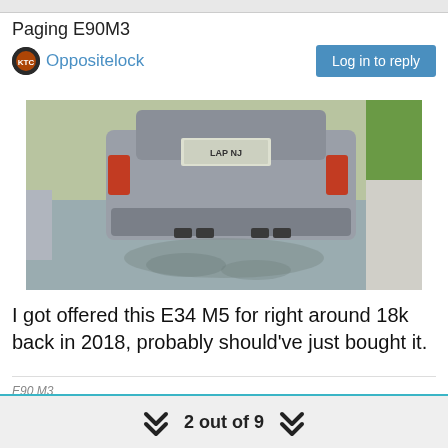Paging E90M3
Oppositelock
[Figure (photo): Rear view of a silver BMW E34 M5 parked in a driveway, showing quad exhaust tips and a license plate reading LAP NJ]
I got offered this E34 M5 for right around 18k back in 2018, probably should've just bought it.
E90 M3
E92 328i
1 Reply >
2 out of 9